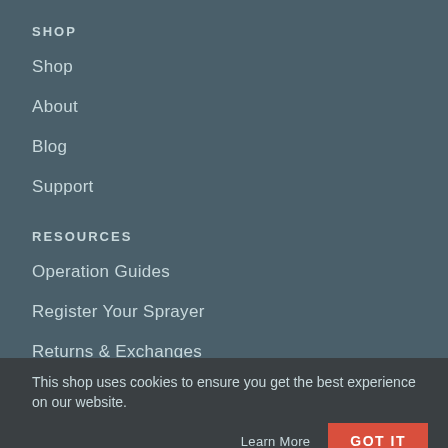SHOP
Shop
About
Blog
Support
RESOURCES
Operation Guides
Register Your Sprayer
Returns & Exchanges
This shop uses cookies to ensure you get the best experience on our website.
Learn More
GOT IT